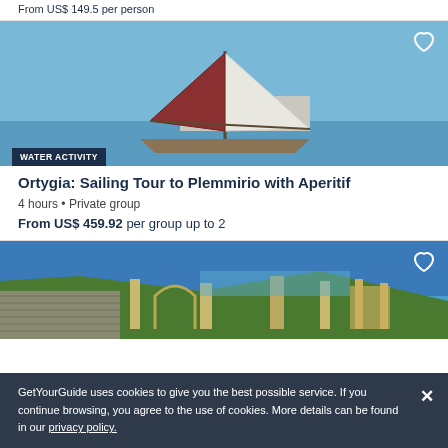From US$ 149.5 per person
[Figure (photo): Sailing boat with red and white sails on blue water]
WATER ACTIVITY
Ortygia: Sailing Tour to Plemmirio with Aperitif
4 hours • Private group
From US$ 459.92 per group up to 2
[Figure (photo): Ancient Greek/Roman amphitheater ruins with sea view in background]
GetYourGuide uses cookies to give you the best possible service. If you continue browsing, you agree to the use of cookies. More details can be found in our privacy policy.